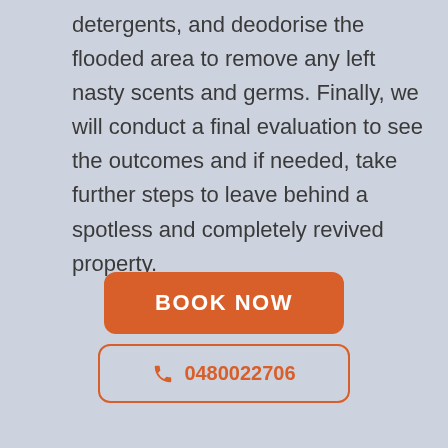detergents, and deodorise the flooded area to remove any left nasty scents and germs. Finally, we will conduct a final evaluation to see the outcomes and if needed, take further steps to leave behind a spotless and completely revived property.
[Figure (other): Orange rounded button with white bold text reading BOOK NOW]
[Figure (other): White rounded outlined button with orange phone icon and orange text reading 0480022706]